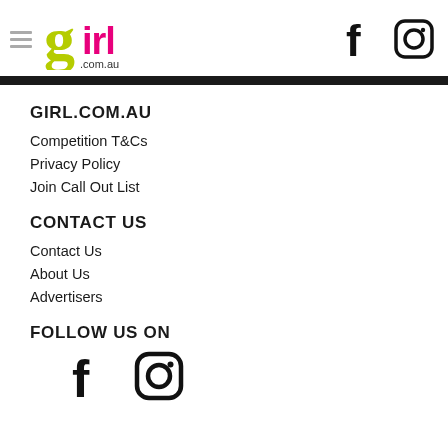girl.com.au — navigation header with hamburger menu, logo, Facebook and Instagram icons
GIRL.COM.AU
Competition T&Cs
Privacy Policy
Join Call Out List
CONTACT US
Contact Us
About Us
Advertisers
FOLLOW US ON
[Figure (logo): Facebook and Instagram icons side by side]